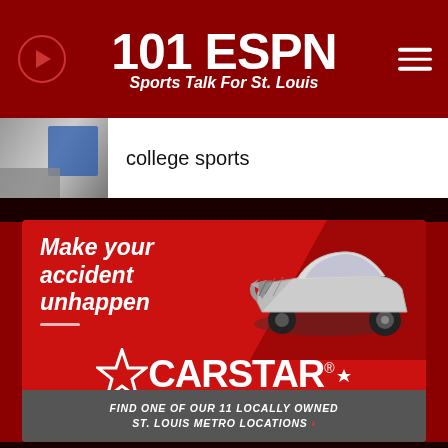[Figure (logo): 101 ESPN Sports Talk For St. Louis radio station header logo with play button and hamburger menu]
college sports
[Figure (infographic): CARSTAR Auto Body Repair Experts advertisement. Text reads: Make your accident unhappen. CARSTAR Auto Body Repair Experts. FIND ONE OF OUR 11 LOCALLY OWNED ST. LOUIS METRO LOCATIONS.]